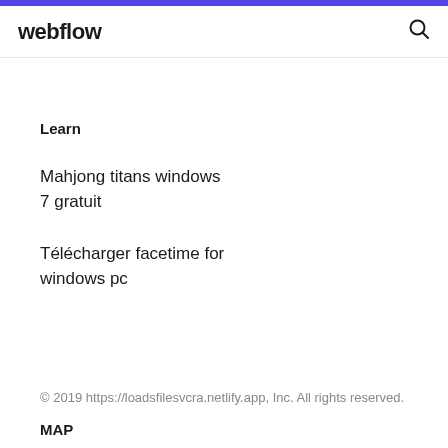webflow
Learn
Mahjong titans windows 7 gratuit
Télécharger facetime for windows pc
© 2019 https://loadsfilesvcra.netlify.app, Inc. All rights reserved.
MAP